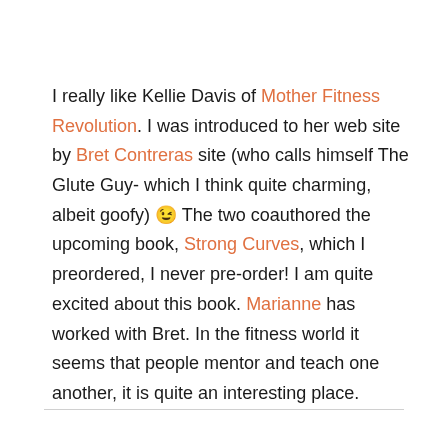I really like Kellie Davis of Mother Fitness Revolution. I was introduced to her web site by Bret Contreras site (who calls himself The Glute Guy- which I think quite charming, albeit goofy) 😉 The two coauthored the upcoming book, Strong Curves, which I preordered, I never pre-order! I am quite excited about this book. Marianne has worked with Bret. In the fitness world it seems that people mentor and teach one another, it is quite an interesting place.